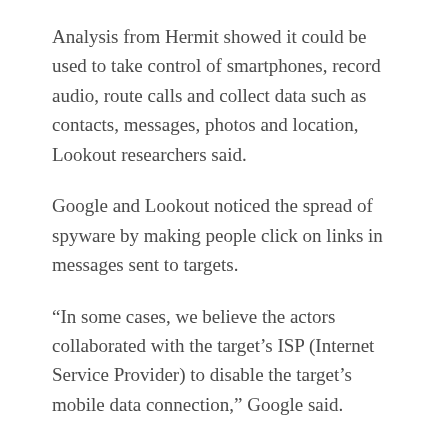Analysis from Hermit showed it could be used to take control of smartphones, record audio, route calls and collect data such as contacts, messages, photos and location, Lookout researchers said.
Google and Lookout noticed the spread of spyware by making people click on links in messages sent to targets.
“In some cases, we believe the actors collaborated with the target’s ISP (Internet Service Provider) to disable the target’s mobile data connection,” Google said.
“Once disabled, the attacker would send a malicious link via text message asking the target to install an application to restore their data connection.”
When not pretending to be a mobile Internet service provider, the cyber spies would send links masquerading as